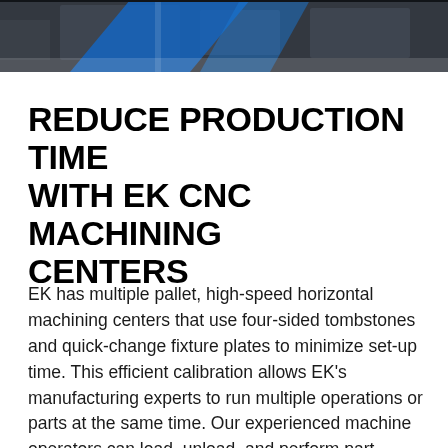[Figure (photo): Partial view of a CNC machining center facility, showing industrial machinery with blue accent graphics. Photo is cropped at the top of the page.]
REDUCE PRODUCTION TIME WITH EK CNC MACHINING CENTERS
EK has multiple pallet, high-speed horizontal machining centers that use four-sided tombstones and quick-change fixture plates to minimize set-up time. This efficient calibration allows EK's manufacturing experts to run multiple operations or parts at the same time. Our experienced machine operators can load, unload, and perform part inspections while the machine